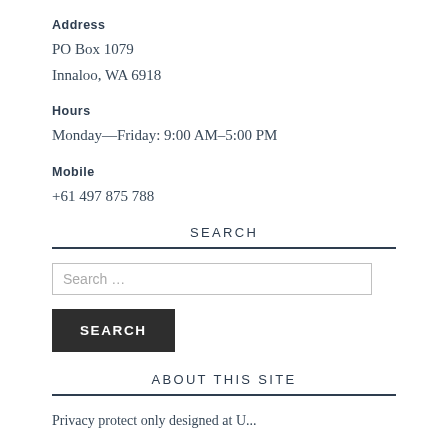Address
PO Box 1079
Innaloo, WA 6918
Hours
Monday—Friday: 9:00 AM–5:00 PM
Mobile
+61 497 875 788
SEARCH
Search …
SEARCH
ABOUT THIS SITE
Privacy protect only designed at U...